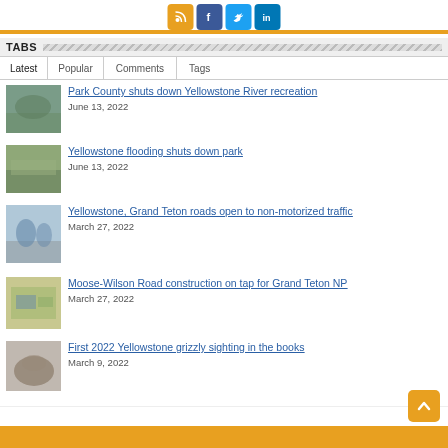Social icons: RSS, Facebook, Twitter, LinkedIn
TABS
Latest | Popular | Comments | Tags
Park County shuts down Yellowstone River recreation
June 13, 2022
Yellowstone flooding shuts down park
June 13, 2022
Yellowstone, Grand Teton roads open to non-motorized traffic
March 27, 2022
Moose-Wilson Road construction on tap for Grand Teton NP
March 27, 2022
First 2022 Yellowstone grizzly sighting in the books
March 9, 2022